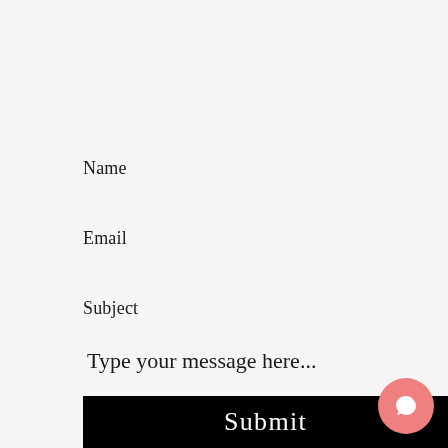Name
Email
Subject
Type your message here...
Submit
[Figure (illustration): Pink/salmon circular chat bubble icon in lower right corner]